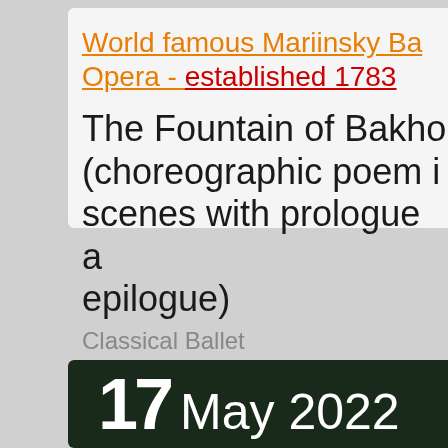World famous Mariinsky Ballet Opera - established 1783
The Fountain of Bakhchisarai (choreographic poem in scenes with prologue and epilogue)
Classical Ballet
[Figure (other): Dark background image with date '17 May 2022' displayed in large white text]